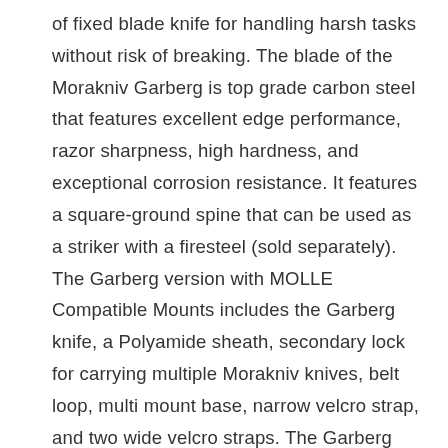of fixed blade knife for handling harsh tasks without risk of breaking. The blade of the Morakniv Garberg is top grade carbon steel that features excellent edge performance, razor sharpness, high hardness, and exceptional corrosion resistance. It features a square-ground spine that can be used as a striker with a firesteel (sold separately). The Garberg version with MOLLE Compatible Mounts includes the Garberg knife, a Polyamide sheath, secondary lock for carrying multiple Morakniv knives, belt loop, multi mount base, narrow velcro strap, and two wide velcro straps. The Garberg version with leather sheath includes the Garberg knife and a fine leather sheath. (Each version of the knife is sold separately). Total length 9.0 inches (229 mm); blade length 4.3 inches (109 mm); blade thickness 0.13 inches (3.2 mm); weight 9.6 oz. (272 g). Manufacturer's limited lifetimes warranty.